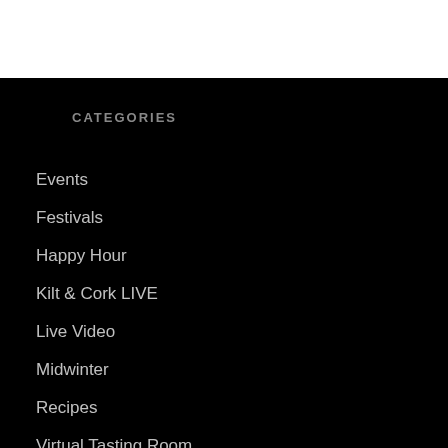CATEGORIES
Events
Festivals
Happy Hour
Kilt & Cork LIVE
Live Video
Midwinter
Recipes
Virtual Tasting Room